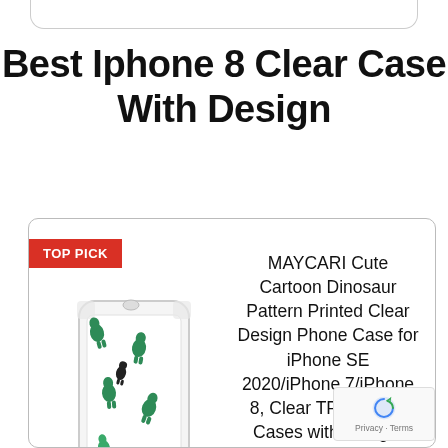Best Iphone 8 Clear Case With Design
[Figure (photo): Product card with TOP PICK badge showing a clear iPhone case with green cartoon dinosaur pattern print (MAYCARI brand)]
MAYCARI Cute Cartoon Dinosaur Pattern Printed Clear Design Phone Case for iPhone SE 2020/iPhone 7/iPhone 8, Clear TPU Phone Cases with Design, Soft Flexiable Slim Protective Cases